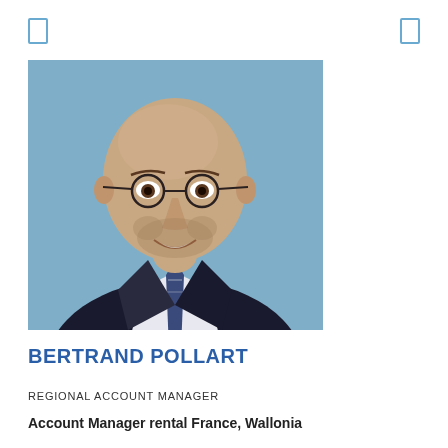[ ] [ ]
[Figure (photo): Professional headshot of Bertrand Pollart, a middle-aged bald man with round glasses, dark suit, white shirt, and striped tie, on a blue-grey background.]
BERTRAND POLLART
REGIONAL ACCOUNT MANAGER
Account Manager rental France, Wallonia